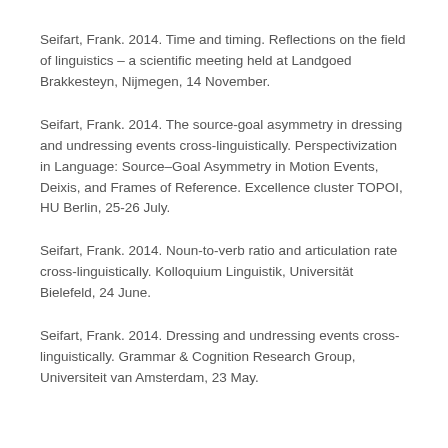Seifart, Frank. 2014. Time and timing. Reflections on the field of linguistics – a scientific meeting held at Landgoed Brakkesteyn, Nijmegen, 14 November.
Seifart, Frank. 2014. The source-goal asymmetry in dressing and undressing events cross-linguistically. Perspectivization in Language: Source–Goal Asymmetry in Motion Events, Deixis, and Frames of Reference. Excellence cluster TOPOI, HU Berlin, 25-26 July.
Seifart, Frank. 2014. Noun-to-verb ratio and articulation rate cross-linguistically. Kolloquium Linguistik, Universität Bielefeld, 24 June.
Seifart, Frank. 2014. Dressing and undressing events cross-linguistically. Grammar & Cognition Research Group, Universiteit van Amsterdam, 23 May.